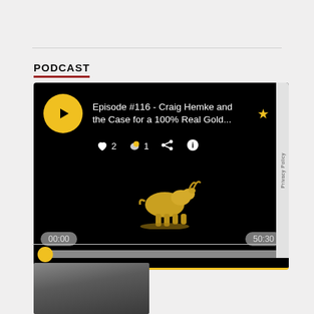PODCAST
[Figure (screenshot): Podcast player embed showing Episode #116 - Craig Hemke and the Case for a 100% Real Gold... with a golden goat logo, play button, heart icon (2 likes), comment icon (1 comment), share icon, info icon, timestamps 00:00 and 50:30, and a progress bar.]
[Figure (photo): Partial headshot of a person against a dark background, cropped at the bottom of the page.]